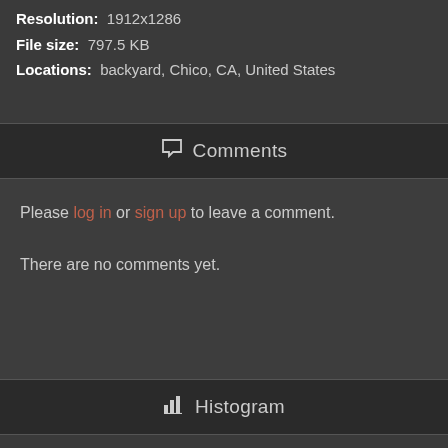Resolution: 1912x1286
File size: 797.5 KB
Locations: backyard, Chico, CA, United States
Comments
Please log in or sign up to leave a comment.
There are no comments yet.
Histogram